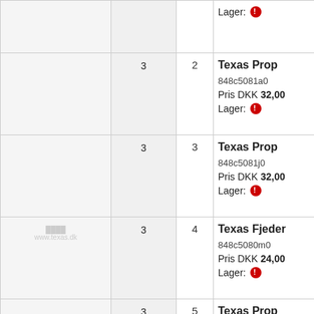| Image | Qty | # | Product Info |
| --- | --- | --- | --- |
|  |  |  | Lager: [red icon] |
|  | 3 | 2 | Texas Prop
848c5081a0
Pris DKK 32,00
Lager: [red icon] |
|  | 3 | 3 | Texas Prop
848c5081j0
Pris DKK 32,00
Lager: [red icon] |
| [watermark] www.texas.dk | 3 | 4 | Texas Fjeder
848c5080m0
Pris DKK 24,00
Lager: [red icon] |
|  | 3 | 5 | Texas Prop
848c5080r0
... |